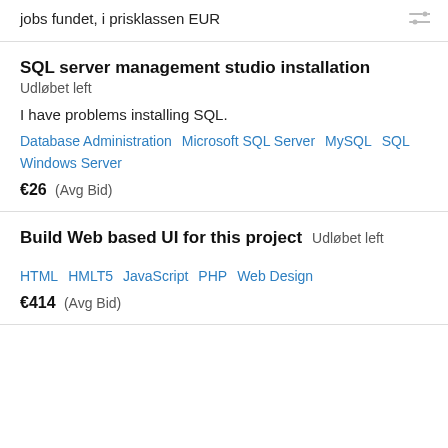jobs fundet, i prisklassen EUR
SQL server management studio installation
Udløbet left
I have problems installing SQL.
Database Administration   Microsoft SQL Server   MySQL   SQL   Windows Server
€26  (Avg Bid)
Build Web based UI for this project
Udløbet left
HTML   HMLT5   JavaScript   PHP   Web Design
€414  (Avg Bid)